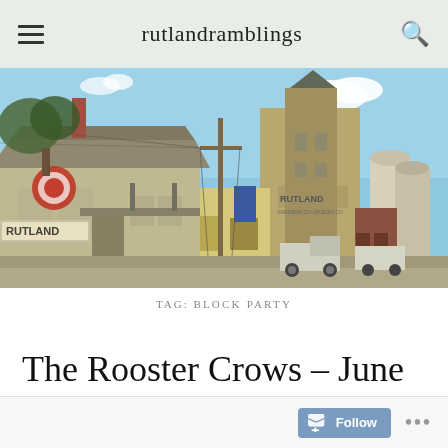rutlandramblings
[Figure (photo): Street-level photo of Rutland town buildings including a wooden depot with 'RUTLAND' sign, grain elevator with 'RUTLAND' lettering, and silos under a blue sky]
TAG: BLOCK PARTY
The Rooster Crows – June 17, 2022
Follow